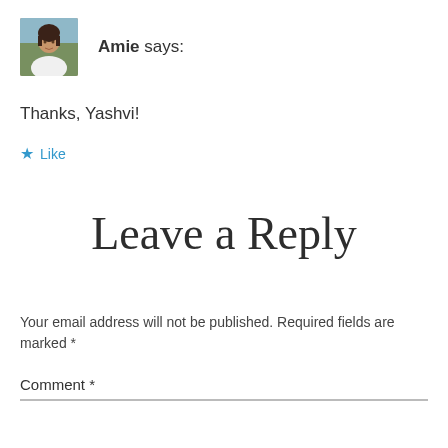[Figure (photo): Small avatar photo of a woman (Amie) in a white top, outdoors background]
Amie says:
Thanks, Yashvi!
★ Like
Leave a Reply
Your email address will not be published. Required fields are marked *
Comment *